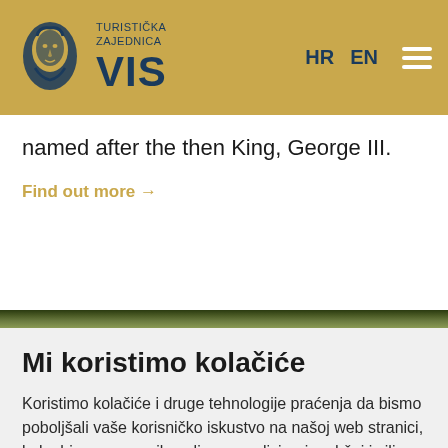TURISTIČKA ZAJEDNICA VIS — HR EN
named after the then King, George III.
Find out more →
Mi koristimo kolačiće
Koristimo kolačiće i druge tehnologije praćenja da bismo poboljšali vaše korisničko iskustvo na našoj web stranici, kako bismo vam prikazali personalizirani sadržaj i ciljane oglase, analizirali